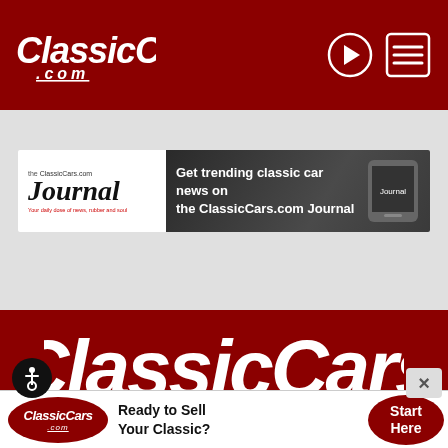ClassicCars.com — website header with logo and navigation icons
[Figure (screenshot): ClassicCars.com Journal advertisement banner: Journal logo on left, text 'Get trending classic car news on the ClassicCars.com Journal' on dark background with phone graphic on right]
[Figure (logo): Large ClassicCars.com logo in white on dark red background — footer section]
[Figure (infographic): Bottom advertisement bar: ClassicCars.com oval logo, text 'Ready to Sell Your Classic?', red circular button 'Start Here']